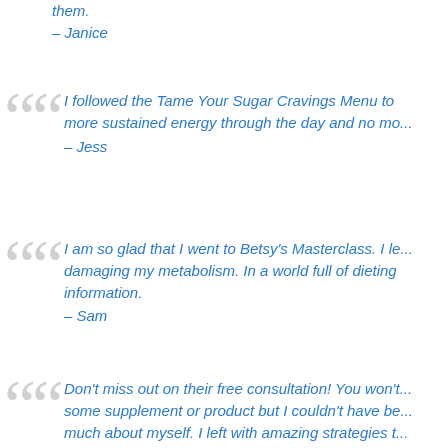them.
– Janice
I followed the Tame Your Sugar Cravings Menu to more sustained energy through the day and no mo...
– Jess
I am so glad that I went to Betsy's Masterclass. I le... damaging my metabolism. In a world full of dieting information.
– Sam
Don't miss out on their free consultation! You won't... some supplement or product but I couldn't have be... much about myself. I left with amazing strategies t...